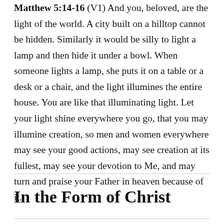Matthew 5:14-16 (V1) And you, beloved, are the light of the world. A city built on a hilltop cannot be hidden. Similarly it would be silly to light a lamp and then hide it under a bowl. When someone lights a lamp, she puts it on a table or a desk or a chair, and the light illumines the entire house. You are like that illuminating light. Let your light shine everywhere you go, that you may illumine creation, so men and women everywhere may see your good actions, may see creation at its fullest, may see your devotion to Me, and may turn and praise your Father in heaven because of it.
In the Form of Christ